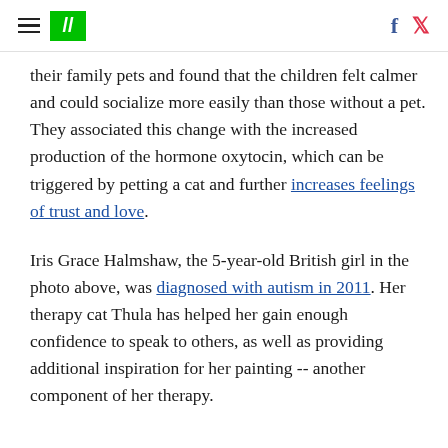HuffPost navigation and social icons
their family pets and found that the children felt calmer and could socialize more easily than those without a pet. They associated this change with the increased production of the hormone oxytocin, which can be triggered by petting a cat and further increases feelings of trust and love.
Iris Grace Halmshaw, the 5-year-old British girl in the photo above, was diagnosed with autism in 2011. Her therapy cat Thula has helped her gain enough confidence to speak to others, as well as providing additional inspiration for her painting -- another component of her therapy.